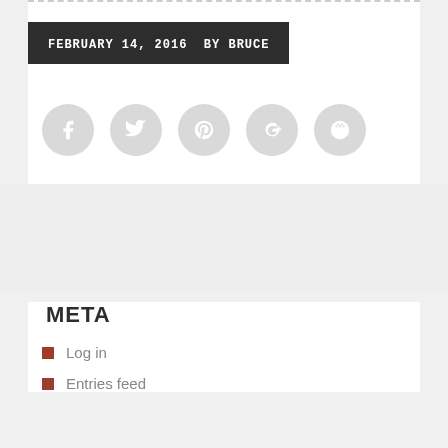FEBRUARY 14, 2016  BY BRUCE
[Figure (infographic): Row of 5 social media icon circles (Facebook, Twitter, Pinterest, Google+, StumbleUpon) in light gray]
META
Log in
Entries feed